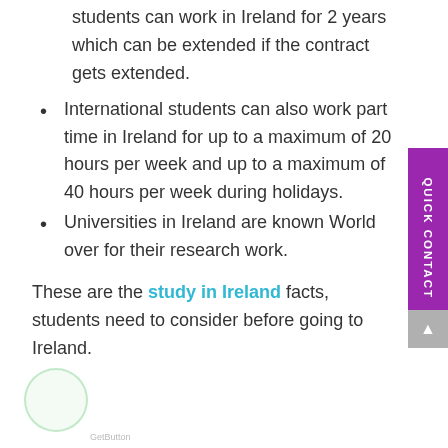students can work in Ireland for 2 years which can be extended if the contract gets extended.
International students can also work part time in Ireland for up to a maximum of 20 hours per week and up to a maximum of 40 hours per week during holidays.
Universities in Ireland are known World over for their research work.
These are the study in Ireland facts, students need to consider before going to Ireland.
GetButton